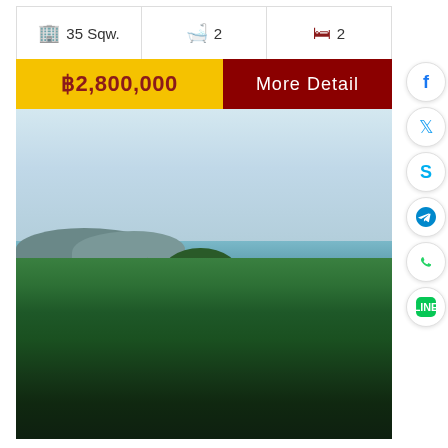35 Sqw.  |  2 bathrooms  |  2 bedrooms
฿2,800,000  More Detail
[Figure (photo): Aerial/elevated view of tropical island landscape with sea, islands, and dense green forest in foreground. Sky with light clouds.]